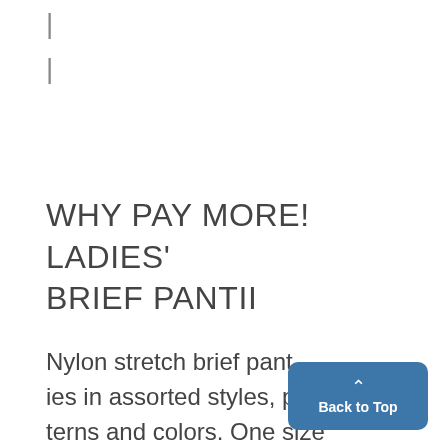|
|
WHY PAY MORE!
LADIES'
BRIEF PANTII
Nylon stretch pant-ies in assorted styles, pat-terns and colors. One size fits 5 to 7.
LADIES' DEPT.
Back to Top